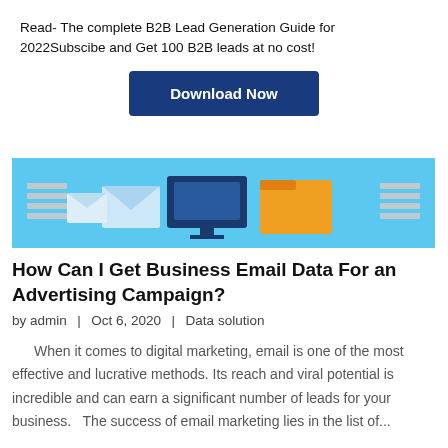Read- The complete B2B Lead Generation Guide for 2022Subscibe and Get 100 B2B leads at no cost!
[Figure (other): Dark blue Download Now button]
[Figure (illustration): Banner illustration showing email marketing graphic with computer monitor, folder, and envelopes on a blue background]
How Can I Get Business Email Data For an Advertising Campaign?
by admin  |  Oct 6, 2020  |  Data solution
When it comes to digital marketing, email is one of the most effective and lucrative methods. Its reach and viral potential is incredible and can earn a significant number of leads for your business.   The success of email marketing lies in the list of...